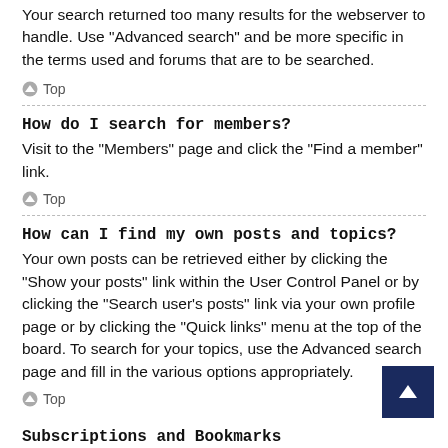Your search returned too many results for the webserver to handle. Use “Advanced search” and be more specific in the terms used and forums that are to be searched.
▲ Top
How do I search for members?
Visit to the “Members” page and click the “Find a member” link.
▲ Top
How can I find my own posts and topics?
Your own posts can be retrieved either by clicking the “Show your posts” link within the User Control Panel or by clicking the “Search user’s posts” link via your own profile page or by clicking the “Quick links” menu at the top of the board. To search for your topics, use the Advanced search page and fill in the various options appropriately.
▲ Top
Subscriptions and Bookmarks